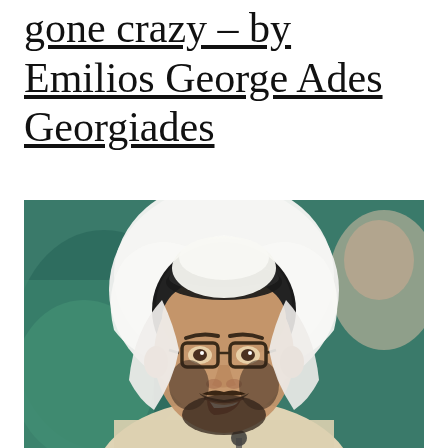gone crazy – by Emilios George Ades Georgiades
[Figure (photo): Portrait photo of a middle-aged man wearing glasses and a white keffiyeh headdress with black agal, speaking at what appears to be a press conference or public event, with a green background visible]